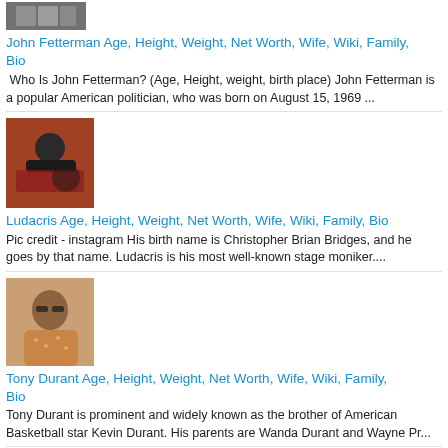[Figure (photo): Thumbnail photo of John Fetterman at top, partially cropped]
John Fetterman Age, Height, Weight, Net Worth, Wife, Wiki, Family, Bio
Who Is John Fetterman? (Age, Height, weight, birth place) John Fetterman is a popular American politician, who was born on August 15, 1969 ...
[Figure (photo): Thumbnail photo of Ludacris doing push-ups on a red surface]
Ludacris Age, Height, Weight, Net Worth, Wife, Wiki, Family, Bio
Pic credit - instagram His birth name is Christopher Brian Bridges, and he goes by that name. Ludacris is his most well-known stage moniker....
[Figure (photo): Thumbnail photo of Tony Durant smiling, wearing a patterned shirt]
Tony Durant Age, Height, Weight, Net Worth, Wife, Wiki, Family, Bio
Tony Durant is prominent and widely known as the brother of American Basketball star Kevin Durant. His parents are Wanda Durant and Wayne Pr...
Alex Smith Age, Height, Weight, Net Worth, Wife, Wiki, Family, Bio